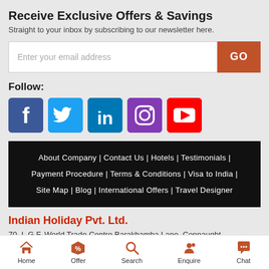Receive Exclusive Offers & Savings
Straight to your inbox by subscribing to our newsletter here.
[Figure (other): Email subscription input field with GO button]
Follow:
[Figure (other): Social media icons: Facebook, Twitter, LinkedIn, Instagram, YouTube]
About Company  |  Contact Us  |  Hotels  |  Testimonials  |  Payment Procedure  |  Terms & Conditions  |  Visa to India  |  Site Map  |  Blog  |  International Offers  |  Travel Designer
Indian Holiday Pvt. Ltd.
70, L.G.F. World Trade Centre Barakhamba Lane, Connaught
Home  Offer  Search  Enquire  Chat